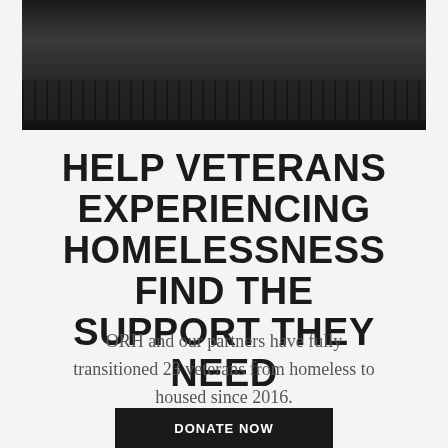[Figure (photo): Black and white photo showing what appears to be a gym floor with a barbell, dark moody lighting]
HELP VETERANS EXPERIENCING HOMELESSNESS FIND THE SUPPORT THEY NEED
ORH and our partners have fully transitioned 23 veterans from homeless to housed since 2016.
[Figure (other): Dark button partially visible at bottom of page, text partially cut off]